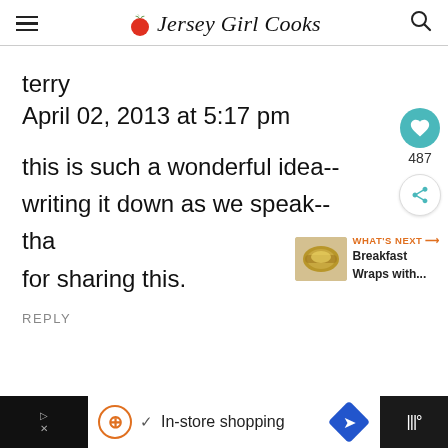Jersey Girl Cooks
terry
April 02, 2013 at 5:17 pm
this is such a wonderful idea-- writing it down as we speak--tha for sharing this.
REPLY
[Figure (screenshot): Bottom ad bar with In-store shopping advertisement]
[Figure (infographic): What's Next widget showing Breakfast Wraps with...]
[Figure (infographic): Social sidebar with heart icon (487) and share button]